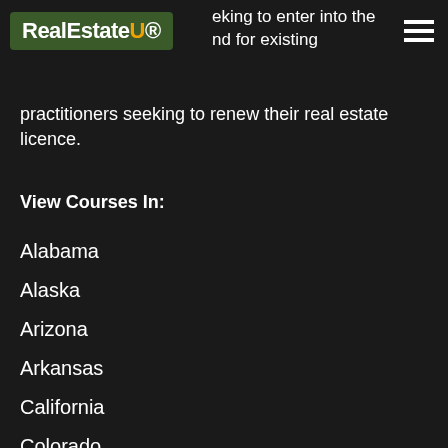RealEstateU
eking to enter into the nd for existing practitioners seeking to renew their real estate licence.
View Courses In:
Alabama
Alaska
Arizona
Arkansas
California
Colorado
Connecticut
Delaware
Florida